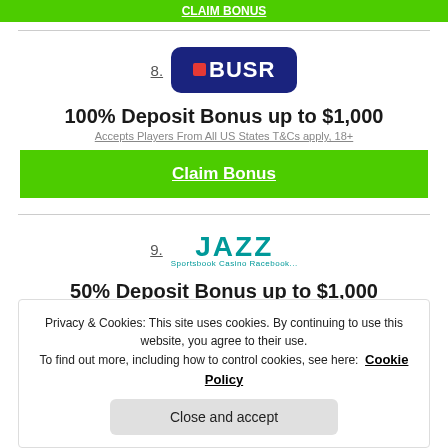[Figure (logo): BUSR logo - dark blue rounded rectangle with red square and white BUSR text]
100% Deposit Bonus up to $1,000
Accepts Players From All US States T&Cs apply, 18+
Claim Bonus
[Figure (logo): JAZZ Sportsbook Casino Racebook logo in teal]
50% Deposit Bonus up to $1,000
Privacy & Cookies: This site uses cookies. By continuing to use this website, you agree to their use. To find out more, including how to control cookies, see here: Cookie Policy
Close and accept